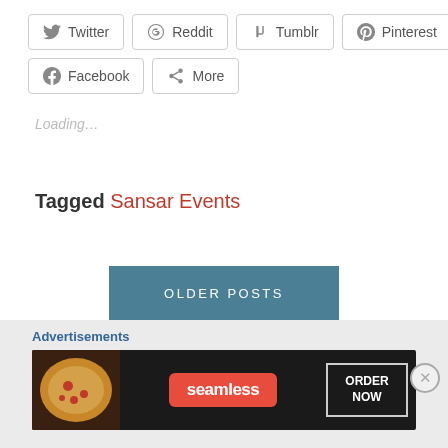[Figure (screenshot): Social share buttons: Twitter, Reddit, Tumblr, Pinterest in top row; Facebook, More in second row]
Loading…
Tagged Sansar Events
OLDER POSTS
Advertisements
Advertisements
[Figure (screenshot): Seamless food delivery advertisement with pizza image, Seamless red logo, and ORDER NOW button]